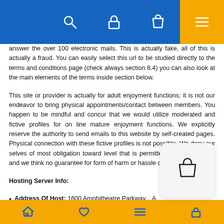answer the over 100 electronic mails. This is actually fake, all of this is actually a fraud. You can easily select this url to be studied directly to the terms and conditions page (check always section 8.4) you can also look at the main elements of the terms inside section below.
This site or provider is actually for adult enjoyment functions; it is not our endeavor to bring physical appointments/contact between members. You happen to be mindful and concur that we would utilize moderated and fictive profiles for on line mature enjoyment functions. We explicitly reserve the authority to send emails to this website by self-created pages. Physical connection with these fictive profiles is not possible. We deny our selves of most obligation toward level that is permitted of the legislation and we think no guarantee for form of harm or hassle due to our provider.
Hosting Server Info:
Address Of Host: 1600 Amphitheatre Parkway... A.